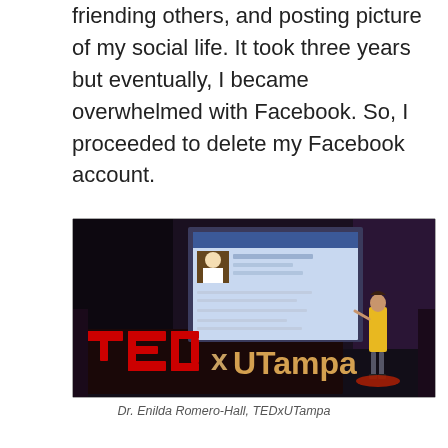friending others, and posting picture of my social life. It took three years but eventually, I became overwhelmed with Facebook. So, I proceeded to delete my Facebook account.
[Figure (photo): A woman in a yellow top stands on a darkened stage at TEDxUTampa, gesturing toward a large projected screen showing a Facebook profile page.]
Dr. Enilda Romero-Hall, TEDxUTampa